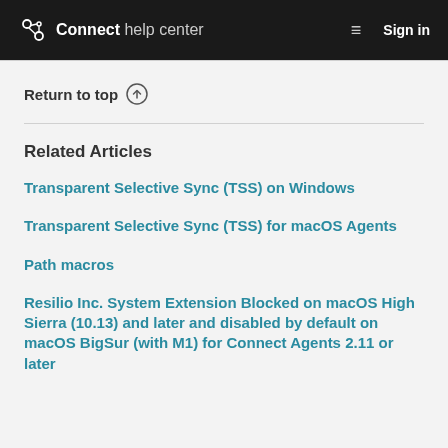Connect help center  Sign in
Return to top ↑
Related Articles
Transparent Selective Sync (TSS) on Windows
Transparent Selective Sync (TSS) for macOS Agents
Path macros
Resilio Inc. System Extension Blocked on macOS High Sierra (10.13) and later and disabled by default on macOS BigSur (with M1) for Connect Agents 2.11 or later